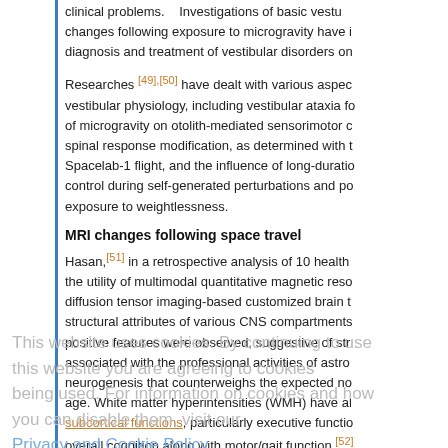clinical problems. ... Investigations of basic vestibular changes following exposure to microgravity have informed the diagnosis and treatment of vestibular disorders on Earth.
Researches [49],[50] have dealt with various aspects of vestibular physiology, including vestibular ataxia following exposure of microgravity on otolith-mediated sensorimotor control, spinal response modification, as determined with the Spacelab-1 flight, and the influence of long-duration exposure on control during self-generated perturbations and postural changes exposure to weightlessness.
MRI changes following space travel
Hasan,[51] in a retrospective analysis of 10 healthy astronauts, assessed the utility of multimodal quantitative magnetic resonance imaging and diffusion tensor imaging-based customized brain tissue analysis to assess structural attributes of various CNS compartments. Several positive features were observed, suggestive of structural plasticity, associated with the professional activities of astronauts, including neurogenesis that counterweighs the expected normal brain loss with age. White matter hyperintensities (WMH) have also been associated with subcortical functions, particularly executive functions, affecting overall cognition along with motor/gait function.[52]